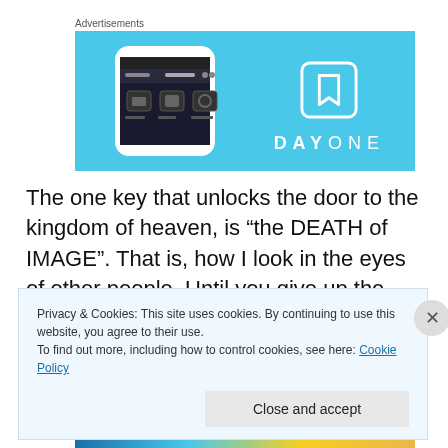Advertisements
[Figure (screenshot): Day One app advertisement banner with light blue background showing a smartphone displaying the Day One journaling app interface, and the Day One logo with bookmark icon and DAYONE text on the right side.]
The one key that unlocks the door to the kingdom of heaven, is “the DEATH of IMAGE”. That is, how I look in the eyes of other people. Until you give up the
Privacy & Cookies: This site uses cookies. By continuing to use this website, you agree to their use.
To find out more, including how to control cookies, see here: Cookie Policy
Close and accept